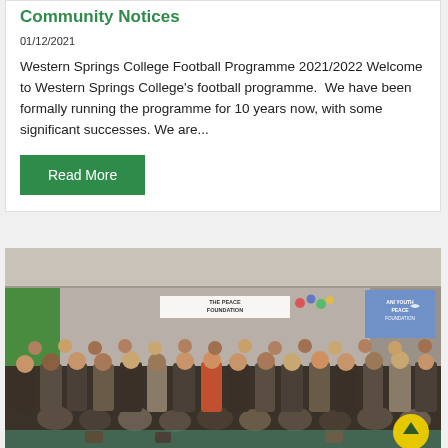Community Notices
01/12/2021
Western Springs College Football Programme 2021/2022 Welcome to Western Springs College's football programme.  We have been formally running the programme for 10 years now, with some significant successes. We are...
Read More
[Figure (photo): Group photo of a large crowd of students and young people gathered indoors at a Peace Foundation event. A banner reading 'THE PEACE FOUNDATION' is visible on the wall behind them. A projection screen is visible on the right side. A yellow circular scroll-to-top button is visible in the bottom right corner of the image.]